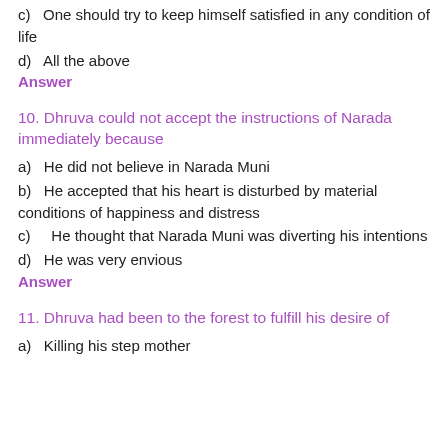c)   One should try to keep himself satisfied in any condition of life
d)   All the above
Answer
10. Dhruva could not accept the instructions of Narada immediately because
a)   He did not believe in Narada Muni
b)   He accepted that his heart is disturbed by material conditions of happiness and distress
c)   He thought that Narada Muni was diverting his intentions
d)   He was very envious
Answer
11. Dhruva had been to the forest to fulfill his desire of
a)   Killing his step mother